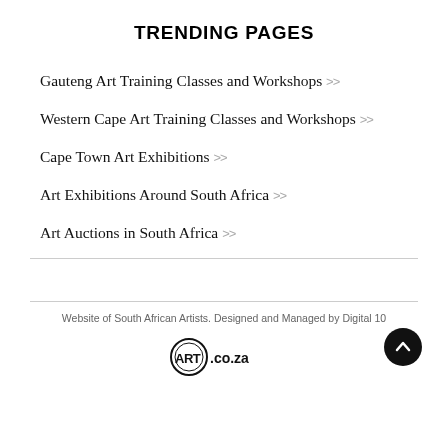TRENDING PAGES
Gauteng Art Training Classes and Workshops >>
Western Cape Art Training Classes and Workshops >>
Cape Town Art Exhibitions >>
Art Exhibitions Around South Africa >>
Art Auctions in South Africa >>
Website of South African Artists. Designed and Managed by Digital 10
[Figure (logo): art.co.za logo — circular badge with ART text and .co.za]